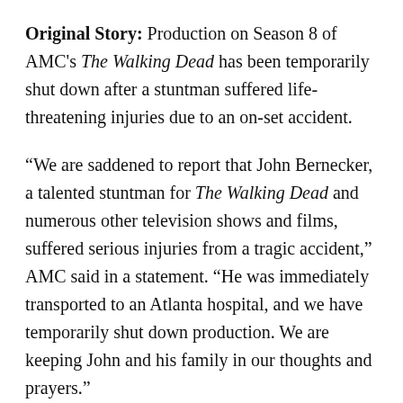Original Story: Production on Season 8 of AMC's The Walking Dead has been temporarily shut down after a stuntman suffered life-threatening injuries due to an on-set accident.
“We are saddened to report that John Bernecker, a talented stuntman for The Walking Dead and numerous other television shows and films, suffered serious injuries from a tragic accident,” AMC said in a statement. “He was immediately transported to an Atlanta hospital, and we have temporarily shut down production. We are keeping John and his family in our thoughts and prayers.”
Deadline reports that Bernecker fell 30 feet onto a concrete floor and sustained a life-threatening head injury. According to an update on the original report,